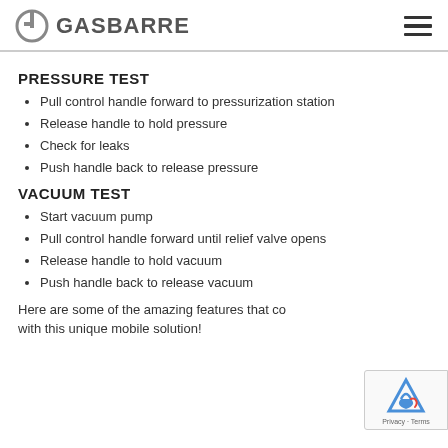GASBARRE
PRESSURE TEST
Pull control handle forward to pressurization station
Release handle to hold pressure
Check for leaks
Push handle back to release pressure
VACUUM TEST
Start vacuum pump
Pull control handle forward until relief valve opens
Release handle to hold vacuum
Push handle back to release vacuum
Here are some of the amazing features that come with this unique mobile solution!